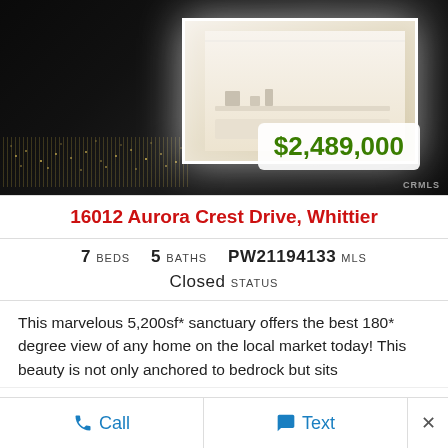[Figure (photo): Luxury home at night with illuminated interior box/room visible against dark city skyline background with glowing city lights in distance. CRMLS watermark bottom right.]
$2,489,000
16012 Aurora Crest Drive, Whittier
7 BEDS   5 BATHS   PW21194133 MLS
Closed STATUS
This marvelous 5,200sf* sanctuary offers the best 180* degree view of any home on the local market today! This beauty is not only anchored to bedrock but sits
Call   Text